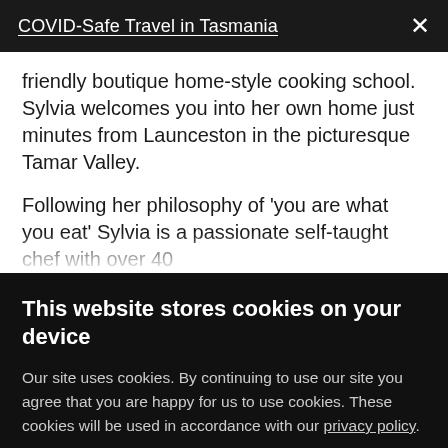COVID-Safe Travel in Tasmania
friendly boutique home-style cooking school. Sylvia welcomes you into her own home just minutes from Launceston in the picturesque Tamar Valley.
Following her philosophy of 'you are what you eat' Sylvia is a passionate self-taught chef with over 40
This website stores cookies on your device
Our site uses cookies. By continuing to use our site you agree that you are happy for us to use cookies. These cookies will be used in accordance with our privacy policy.
Accept
Decline